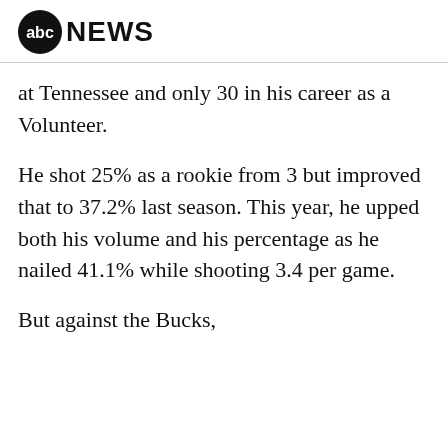abc NEWS
at Tennessee and only 30 in his career as a Volunteer.
He shot 25% as a rookie from 3 but improved that to 37.2% last season. This year, he upped both his volume and his percentage as he nailed 41.1% while shooting 3.4 per game.
But against the Bucks,